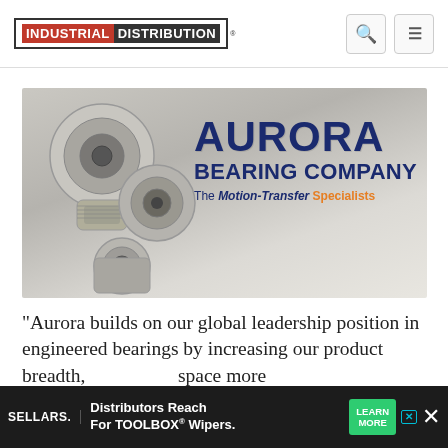INDUSTRIAL DISTRIBUTION
[Figure (logo): Aurora Bearing Company logo with rod end bearings image. Shows metallic rod end bearings on left side with AURORA BEARING COMPANY text and tagline 'The Motion-Transfer Specialists' on right side.]
"Aurora builds on our global leadership position in engineered bearings by increasing our product breadth, ... space more c..., ...again,
[Figure (infographic): SELLARS advertisement banner: 'Distributors Reach For TOOLBOX Wipers.' with LEARN MORE button]